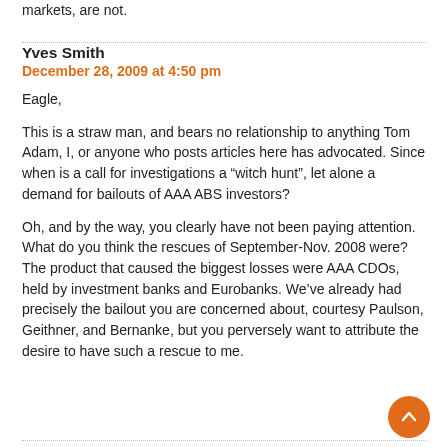markets, are not.
Yves Smith
December 28, 2009 at 4:50 pm
Eagle,
This is a straw man, and bears no relationship to anything Tom Adam, I, or anyone who posts articles here has advocated. Since when is a call for investigations a “witch hunt”, let alone a demand for bailouts of AAA ABS investors?
Oh, and by the way, you clearly have not been paying attention. What do you think the rescues of September-Nov. 2008 were? The product that caused the biggest losses were AAA CDOs, held by investment banks and Eurobanks. We’ve already had precisely the bailout you are concerned about, courtesy Paulson, Geithner, and Bernanke, but you perversely want to attribute the desire to have such a rescue to me.